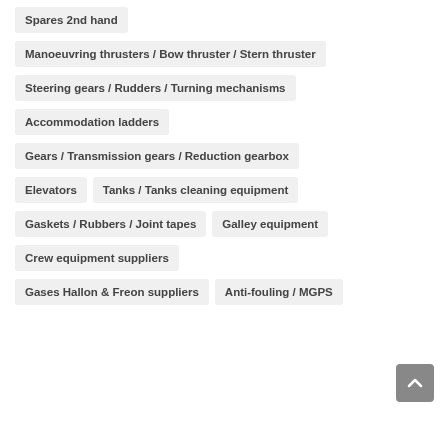Spares 2nd hand
Manoeuvring thrusters / Bow thruster / Stern thruster
Steering gears / Rudders / Turning mechanisms
Accommodation ladders
Gears / Transmission gears / Reduction gearbox
Elevators
Tanks / Tanks cleaning equipment
Gaskets / Rubbers / Joint tapes
Galley equipment
Crew equipment suppliers
Gases Hallon & Freon suppliers
Anti-fouling / MGPS